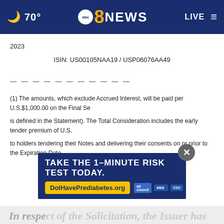70° abc 8 NEWS LIVE
2023
ISIN: US00105NAA19 / USP06076AA49
— — — — — — — — — — —
(1) The amounts, which exclude Accrued Interest, will be paid per U.S.$1,000.00 on the Final Se...
is defined in the Statement). The Total Consideration includes the early tender premium of U.S...
to holders tendering their Notes and delivering their consents on or prior to the Expiration Date...
[Figure (screenshot): Advertisement overlay: TAKE THE 1-MINUTE RISK TEST TODAY. DoIHavePrediabetes.org with ad council, AMA, and CDC logos. Close button (x) in top right.]
In respect of the Solicitation, the Issuer has